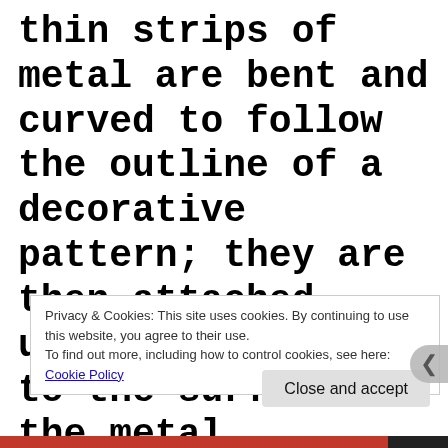thin strips of metal are bent and curved to follow the outline of a decorative pattern; they are then attached, usually soldered, to the surface of the metal
Privacy & Cookies: This site uses cookies. By continuing to use this website, you agree to their use. To find out more, including how to control cookies, see here: Cookie Policy
Close and accept